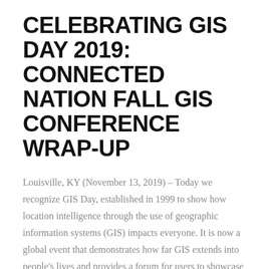CELEBRATING GIS DAY 2019: CONNECTED NATION FALL GIS CONFERENCE WRAP-UP
Louisville, KY (November 13, 2019) – Today we recognize GIS Day, established in 1999 to show how location intelligence through the use of geographic information systems (GIS) impacts everyone. It is now a global event that demonstrates how far GIS extends into people's lives and provides a forum for users to showcase their unique accomplishments using GIS – in analyses, cartography, ...